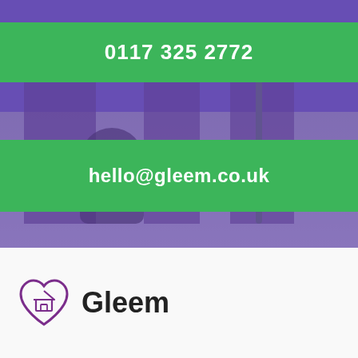[Figure (photo): Cleaning staff with vacuum cleaner and mop on a tiled floor, with purple overlay tint]
0117 325 2772
hello@gleem.co.uk
[Figure (logo): Gleem logo: purple heart with house icon outline, next to bold text 'Gleem']